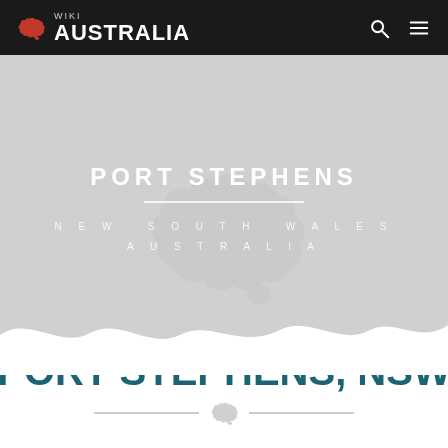Wiki AUSTRALIA
PORT STEPHENS
NEW SOUTH WALES
AUSTRALIA
PORT STEPHENS, NSW